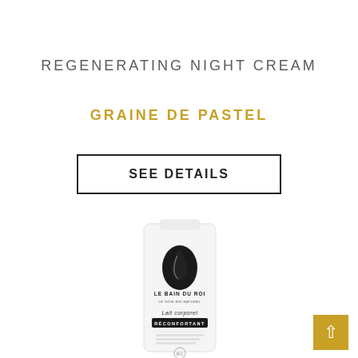REGENERATING NIGHT CREAM
GRAINE DE PASTEL
SEE DETAILS
[Figure (photo): A white cylindrical skincare product bottle with Le Bain Du Roi branding, labelled 'Lait corporel RÉCONFORTANT']
[Figure (other): Gold scroll-to-top arrow button in bottom right corner]